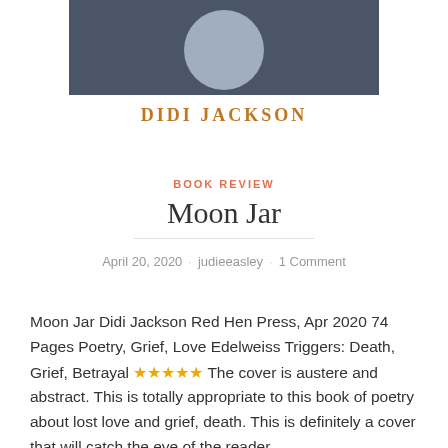[Figure (illustration): Book cover showing dark gray background with a gray circle (moon) and author name 'DIDI JACKSON' in stylized orange/gold lettering below]
BOOK REVIEW
Moon Jar
April 20, 2020 · judieeasley · 1 Comment
Moon Jar Didi Jackson Red Hen Press, Apr 2020 74 Pages Poetry, Grief, Love Edelweiss Triggers: Death, Grief, Betrayal ★★★★★ The cover is austere and abstract. This is totally appropriate to this book of poetry about lost love and grief, death. This is definitely a cover that will catch the eye of the reader.